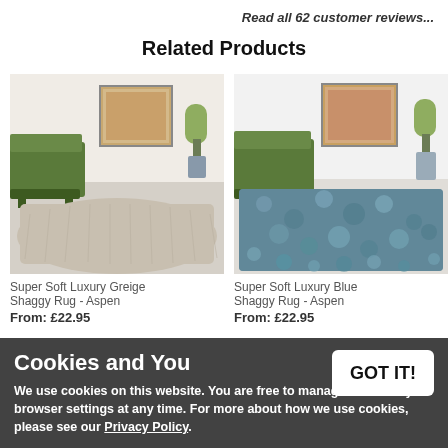Read all 62 customer reviews...
Related Products
[Figure (photo): Super Soft Luxury Greige Shaggy Rug - Aspen, shown in a living room with green sofa and framed art]
[Figure (photo): Super Soft Luxury Blue Shaggy Rug - Aspen, shown in a living room with green sofa and framed art]
Super Soft Luxury Greige Shaggy Rug - Aspen
Super Soft Luxury Blue Shaggy Rug - Aspen
From: £22.95
From: £22.95
Cookies and You
We use cookies on this website. You are free to manage these via your browser settings at any time. For more about how we use cookies, please see our Privacy Policy.